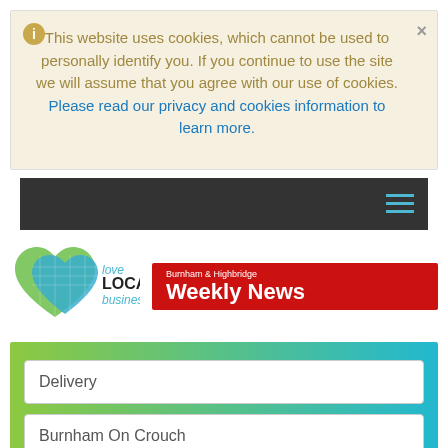This website uses cookies, which cannot be used to personally identify you. If you continue to use the site we will assume that you agree with our use of cookies. Please read our privacy and cookies information to learn more.
[Figure (logo): Love LOCAL business logo with heart icon in green and blue]
[Figure (logo): Burnham & Highbridge Weekly News red banner logo]
Delivery
Burnham On Crouch
Search